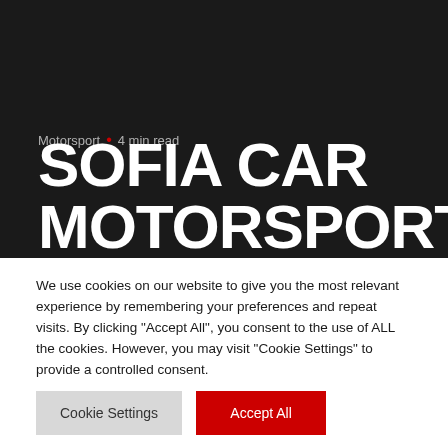Motorsport · 4 min read
SOFIA CAR MOTORSPORT
We use cookies on our website to give you the most relevant experience by remembering your preferences and repeat visits. By clicking "Accept All", you consent to the use of ALL the cookies. However, you may visit "Cookie Settings" to provide a controlled consent.
Cookie Settings | Accept All